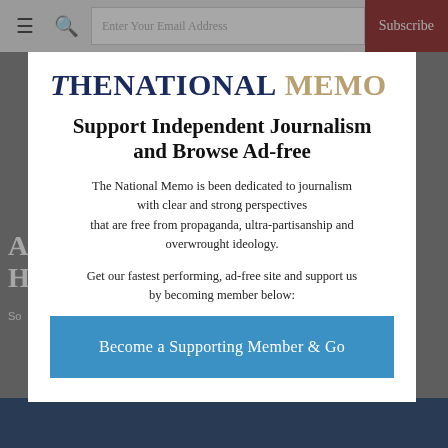TheNational Memo — navigation bar with hamburger, search, email field, Subscribe button
[Figure (screenshot): Background website content partially visible behind modal overlay]
TheNational Memo
Support Independent Journalism and Browse Ad-free
The National Memo is been dedicated to journalism with clear and strong perspectives that are free from propaganda, ultra-partisanship and overwrought ideology.
Get our fastest performing, ad-free site and support us by becoming member below:
Become a Supporting Member & Go